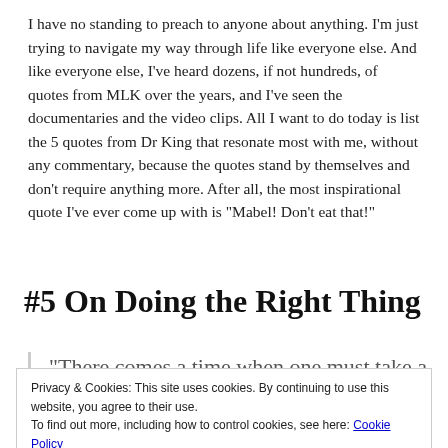I have no standing to preach to anyone about anything. I'm just trying to navigate my way through life like everyone else. And like everyone else, I've heard dozens, if not hundreds, of quotes from MLK over the years, and I've seen the documentaries and the video clips. All I want to do today is list the 5 quotes from Dr King that resonate most with me, without any commentary, because the quotes stand by themselves and don't require anything more. After all, the most inspirational quote I've ever come up with is “Mabel! Don’t eat that!”
#5 On Doing the Right Thing
“There comes a time when one must take a position that is neither safe nor popular, but he must take it because his conscience tells him it is right.”
Privacy & Cookies: This site uses cookies. By continuing to use this website, you agree to their use.
To find out more, including how to control cookies, see here: Cookie Policy